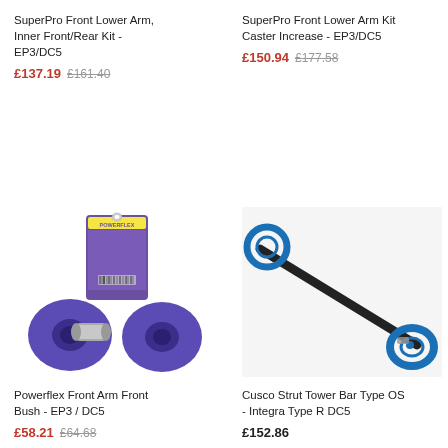SuperPro Front Lower Arm, Inner Front/Rear Kit - EP3/DC5
£137.19 £161.40
SuperPro Front Lower Arm Kit Caster Increase - EP3/DC5
£150.94 £177.58
[Figure (photo): Purple Powerflex polyurethane front arm bushes with metal sleeves, shown with product box]
Powerflex Front Arm Front Bush - EP3 / DC5
£58.21 £64.68
[Figure (photo): Blue Cusco strut tower bar on white background]
Cusco Strut Tower Bar Type OS - Integra Type R DC5
£152.86